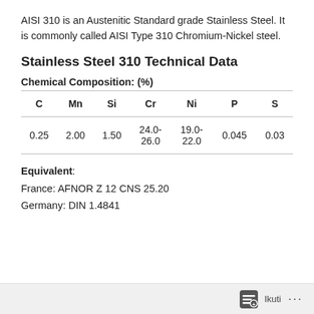AISI 310 is an Austenitic Standard grade Stainless Steel. It is commonly called AISI Type 310 Chromium-Nickel steel.
Stainless Steel 310 Technical Data
Chemical Composition: (%)
| C | Mn | Si | Cr | Ni | P | S |
| --- | --- | --- | --- | --- | --- | --- |
| 0.25 | 2.00 | 1.50 | 24.0-26.0 | 19.0-22.0 | 0.045 | 0.03 |
Equivalent: France: AFNOR Z 12 CNS 25.20 Germany: DIN 1.4841
Ikuti ...